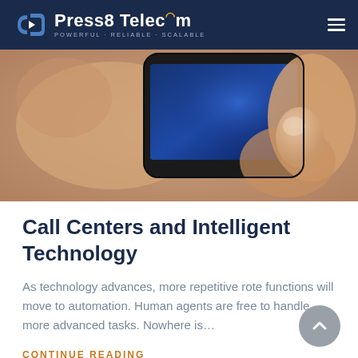Press8 Telecom — POWERFUL · RELIABLE · SCALABLE
[Figure (photo): Close-up photo of a person's hands holding a smartphone with a black screen displaying a blue glow, against a skin-tone blurred background.]
Call Centers and Intelligent Technology
As technology advances, more repetitive rote functions will move to automation. Human agents are free to handle more advanced tasks. Nowhere is…
CONTINUE READING